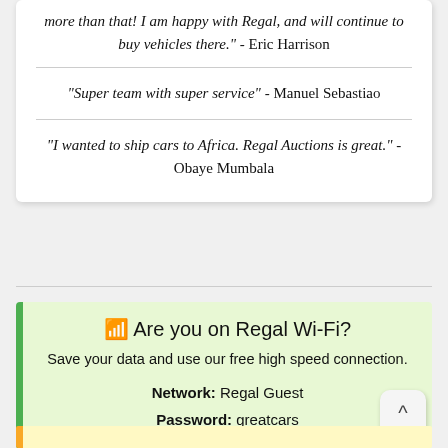more than that! I am happy with Regal, and will continue to buy vehicles there." - Eric Harrison
"Super team with super service" - Manuel Sebastiao
"I wanted to ship cars to Africa. Regal Auctions is great." - Obaye Mumbala
Are you on Regal Wi-Fi? Save your data and use our free high speed connection. Network: Regal Guest Password: greatcars